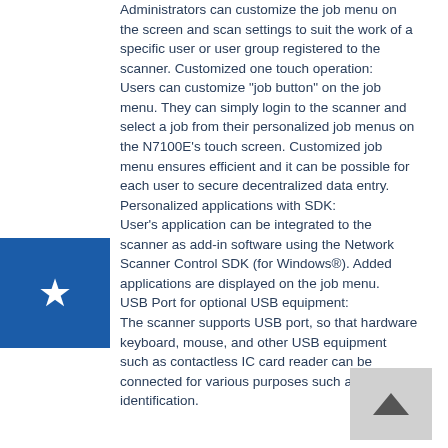Administrators can customize the job menu on the screen and scan settings to suit the work of a specific user or user group registered to the scanner. Customized one touch operation: Users can customize "job button" on the job menu. They can simply login to the scanner and select a job from their personalized job menus on the N7100E's touch screen. Customized job menu ensures efficient and it can be possible for each user to secure decentralized data entry. Personalized applications with SDK: User's application can be integrated to the scanner as add-in software using the Network Scanner Control SDK (for Windows®). Added applications are displayed on the job menu. USB Port for optional USB equipment: The scanner supports USB port, so that hardware keyboard, mouse, and other USB equipment such as contactless IC card reader can be connected for various purposes such as personal identification.
[Figure (illustration): Blue square with a white star icon centered inside]
[Figure (illustration): Grey square with an upward-pointing arrow/chevron icon centered inside]